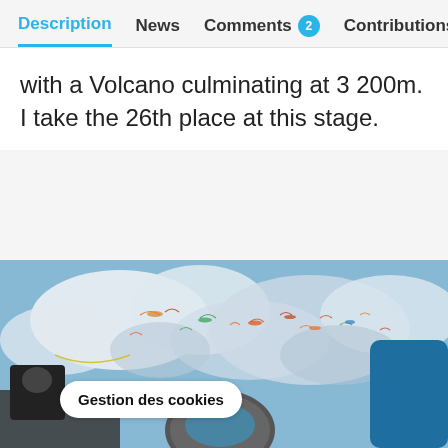Description | News | Comments 2 | Contributions 5
with a Volcano culminating at 3 200m. I take the 26th place at this stage.
[Figure (photo): Paragliders flying in blue sky with clouds, people with helmets in foreground]
Gestion des cookies